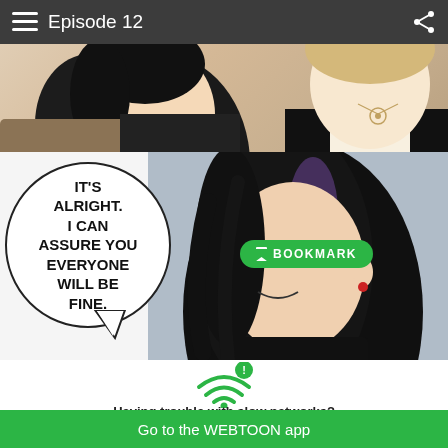Episode 12
[Figure (illustration): Top manga panel showing two characters from shoulders up — one with dark hair on left, one with blonde/light hair on right wearing a necklace, against a warm-toned background.]
[Figure (illustration): Main manga panel: speech bubble on left reading 'IT'S ALRIGHT. I CAN ASSURE YOU EVERYONE WILL BE FINE.' and a character with black hair and a smirk on a blue-gray background, with a green BOOKMARK button overlay.]
[Figure (infographic): WiFi icon with exclamation mark (error indicator) in green.]
Having trouble with slow networks?
Download stories on your phone and read offline!
Go to the WEBTOON app